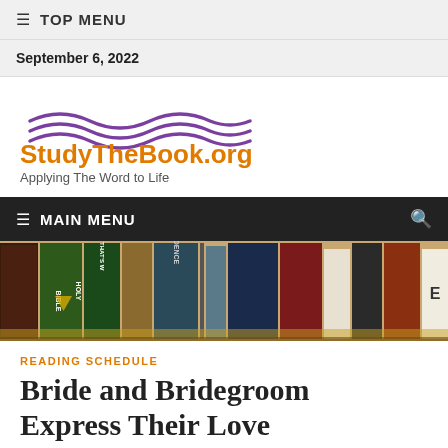≡ TOP MENU
September 6, 2022
[Figure (logo): StudyTheBook.org logo with purple wave lines above orange text reading StudyTheBook.org and tagline Applying The Word to Life]
≡ MAIN MENU 🔍
[Figure (photo): Photograph of a bookshelf with various books including Holy Bible and other religious texts]
READING SCHEDULE
Bride and Bridegroom Express Their Love